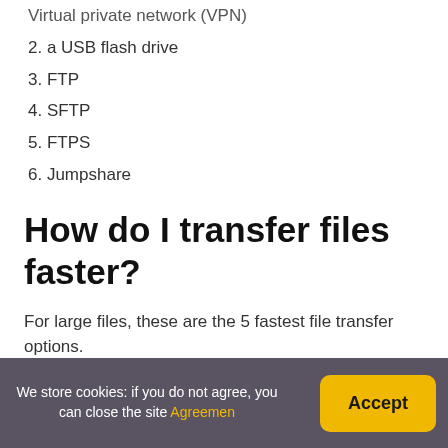Virtual private network (VPN)
2. a USB flash drive
3. FTP
4. SFTP
5. FTPS
6. Jumpshare
How do I transfer files faster?
For large files, these are the 5 fastest file transfer options.
1. Email. To transfer something large, such as an entire
We store cookies: if you do not agree, you can close the site Agreement